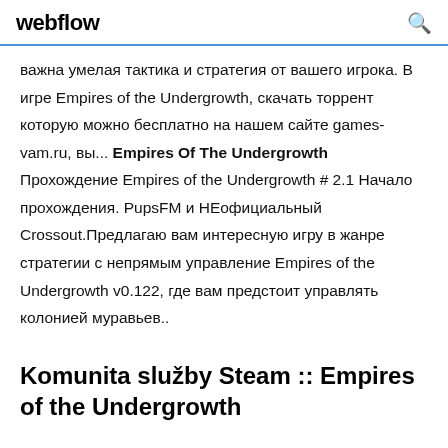webflow
важна умелая тактика и стратегия от вашего игрока. В игре Empires of the Undergrowth, скачать торрент которую можно бесплатно на нашем сайте games-vam.ru, вы... Empires Of The Undergrowth Прохождение Empires of the Undergrowth # 2.1 Начало прохождения. PupsFM и НЕофициальный Crossout.Предлагаю вам интересную игру в жанре стратегии с непрямым управление Empires of the Undergrowth v0.122, где вам предстоит управлять колонией муравьев..
Komunita služby Steam :: Empires of the Undergrowth